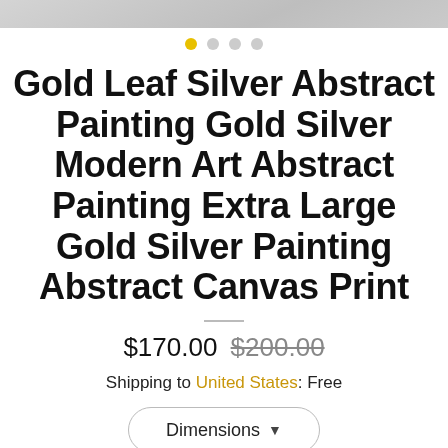[Figure (photo): Top portion of a product image showing an abstract painting with gold and silver leaf, partially cropped at the top of the page.]
[Figure (other): Carousel navigation dots: first dot is gold/yellow (active), three others are grey.]
Gold Leaf Silver Abstract Painting Gold Silver Modern Art Abstract Painting Extra Large Gold Silver Painting Abstract Canvas Print
$170.00 $200.00
Shipping to United States: Free
Dimensions